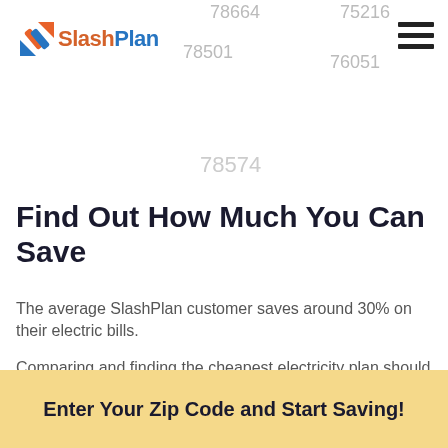[Figure (logo): SlashPlan logo with orange and blue diagonal arrow/slash icon]
78664
75216
78501
76051
78574
Find Out How Much You Can Save
The average SlashPlan customer saves around 30% on their electric bills.
Comparing and finding the cheapest electricity plan should be free, fast, and simple… and now, it finally is.
Enter Your Zip Code and Start Saving!